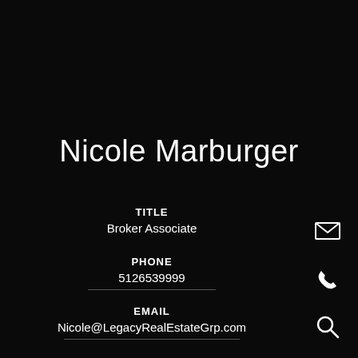Nicole Marburger
TITLE
Broker Associate
PHONE
5126539999
EMAIL
Nicole@LegacyRealEstateGrp.com